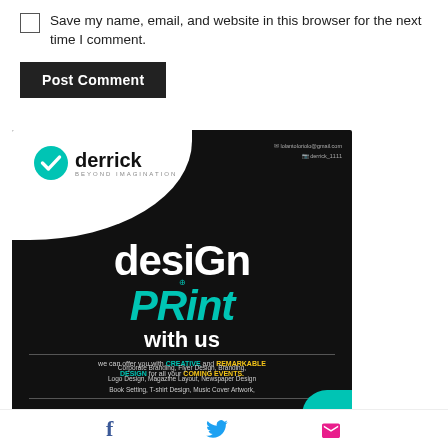Save my name, email, and website in this browser for the next time I comment.
Post Comment
[Figure (infographic): Design & Print promotional flyer with teal and black color scheme. Features 'desiGn PRint with us' headline, derrick beyond imagination branding logo, contact email and instagram handle, list of services including Corporate Branding, Flyer Design, Logo Design, Magazine Layout, Newspaper Design, Book Setting, T-shirt Design, Music Cover Artwork, and phone number +256755094941 with call to action 'Call or Whatsapp to place ur order'.]